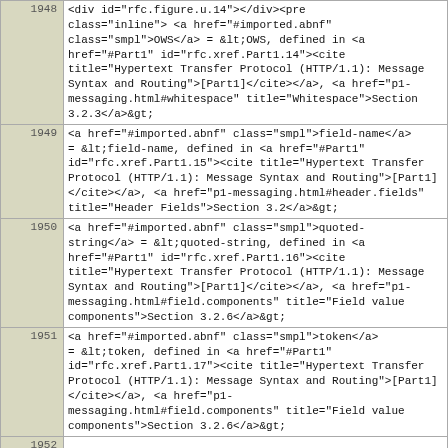| Line | Code |
| --- | --- |
| 1948 | <div id="rfc.figure.u.14"></div><pre class="inline">  <a href="#imported.abnf" class="smpl">OWS</a>              = &lt;OWS, defined in <a href="#Part1" id="rfc.xref.Part1.14"><cite title="Hypertext Transfer Protocol (HTTP/1.1): Message Syntax and Routing">[Part1]</cite></a>, <a href="p1-messaging.html#whitespace" title="Whitespace">Section 3.2.3</a>&gt;; |
| 1949 |   <a href="#imported.abnf" class="smpl">field-name</a>  = &lt;field-name, defined in <a href="#Part1" id="rfc.xref.Part1.15"><cite title="Hypertext Transfer Protocol (HTTP/1.1): Message Syntax and Routing">[Part1]</cite></a>, <a href="p1-messaging.html#header.fields" title="Header Fields">Section 3.2</a>&gt;; |
| 1950 |   <a href="#imported.abnf" class="smpl">quoted-string</a> = &lt;quoted-string, defined in <a href="#Part1" id="rfc.xref.Part1.16"><cite title="Hypertext Transfer Protocol (HTTP/1.1): Message Syntax and Routing">[Part1]</cite></a>, <a href="p1-messaging.html#field.components" title="Field value components">Section 3.2.6</a>&gt;; |
| 1951 |   <a href="#imported.abnf" class="smpl">token</a>         = &lt;token, defined in <a href="#Part1" id="rfc.xref.Part1.17"><cite title="Hypertext Transfer Protocol (HTTP/1.1): Message Syntax and Routing">[Part1]</cite></a>, <a href="p1-messaging.html#field.components" title="Field value components">Section 3.2.6</a>&gt;; |
| 1952 |  |
| 1953 |   <a href="#imported.abnf" class="smpl">port</a>          = &lt;port, defined in <a href="#Part1" id="rfc.xref.Part1.18"><cite title="Hypertext Transfer Protocol (HTTP/1.1): Message Syntax and Routing">[Part1]</cite></a>, <a href="p1-messaging.html#uri" title="Uniform Resource Identifiers">Section 2.7</a>&gt;; |
| 1954 |   <a href="#imported.abnf" class="smpl">pseudonym</a> |